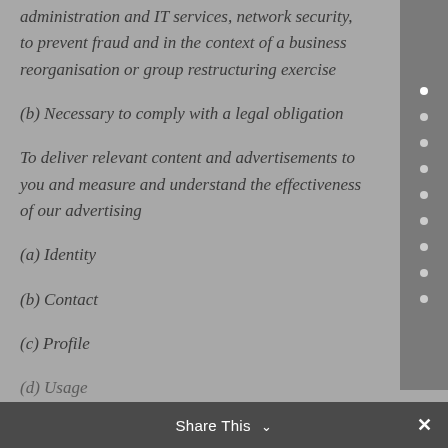administration and IT services, network security, to prevent fraud and in the context of a business reorganisation or group restructuring exercise
(b) Necessary to comply with a legal obligation
To deliver relevant content and advertisements to you and measure and understand the effectiveness of our advertising
(a) Identity
(b) Contact
(c) Profile
(d) Usage
Share This ∨  ✕